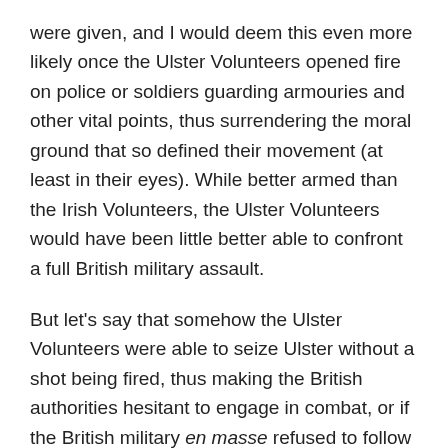were given, and I would deem this even more likely once the Ulster Volunteers opened fire on police or soldiers guarding armouries and other vital points, thus surrendering the moral ground that so defined their movement (at least in their eyes). While better armed than the Irish Volunteers, the Ulster Volunteers would have been little better able to confront a full British military assault.
But let's say that somehow the Ulster Volunteers were able to seize Ulster without a shot being fired, thus making the British authorities hesitant to engage in combat, or if the British military en masse refused to follow orders to enforce Home Rule. Then we look to the Volunteers. Would they have been capable of taking up what arms they had, marching north, and essentially invading a